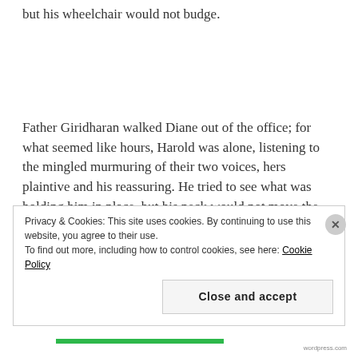but his wheelchair would not budge.
Father Giridharan walked Diane out of the office; for what seemed like hours, Harold was alone, listening to the mingled murmuring of their two voices, hers plaintive and his reassuring. He tried to see what was holding him in place, but his neck would not move the way he wanted it to. He stared at a crucifix
Privacy & Cookies: This site uses cookies. By continuing to use this website, you agree to their use.
To find out more, including how to control cookies, see here: Cookie Policy
Close and accept